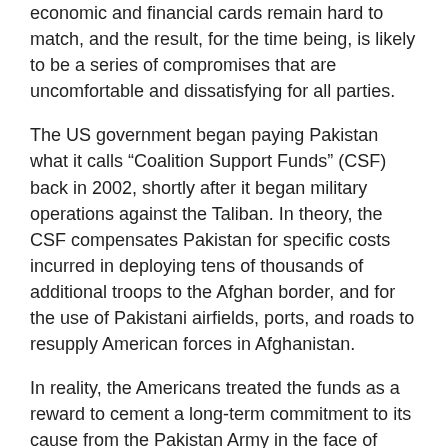economic and financial cards remain hard to match, and the result, for the time being, is likely to be a series of compromises that are uncomfortable and dissatisfying for all parties.
The US government began paying Pakistan what it calls “Coalition Support Funds” (CSF) back in 2002, shortly after it began military operations against the Taliban. In theory, the CSF compensates Pakistan for specific costs incurred in deploying tens of thousands of additional troops to the Afghan border, and for the use of Pakistani airfields, ports, and roads to resupply American forces in Afghanistan.
In reality, the Americans treated the funds as a reward to cement a long-term commitment to its cause from the Pakistan Army in the face of deep and wide popular opposition over the violations of Pakistani national sovereignty and significant civilian casualties.
Pakistan has not yet retaliated by squeezing US supply lines to Afghanistan, but it has not scaled back its covert support to the Haqqanis or the Afghan Taliban either. However, this